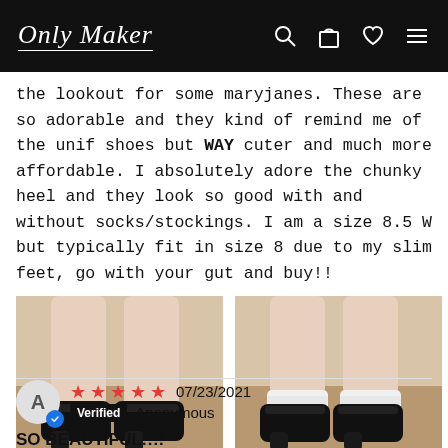Only Maker
the lookout for some maryjanes. These are so adorable and they kind of remind me of the unif shoes but WAY cuter and much more affordable. I absolutely adore the chunky heel and they look so good with and without socks/stockings. I am a size 8.5 W but typically fit in size 8 due to my slim feet, go with your gut and buy!!
[Figure (photo): Two product photos of black mary jane chunky heel shoes worn by a person. Left photo shows shoes without socks, right photo shows shoes worn with white frilly socks.]
★★★★★ 07/23/2021 Verified Anonymous
SO BEAUTIFUL!!!!
I was hesitant to buy these shoes because they look